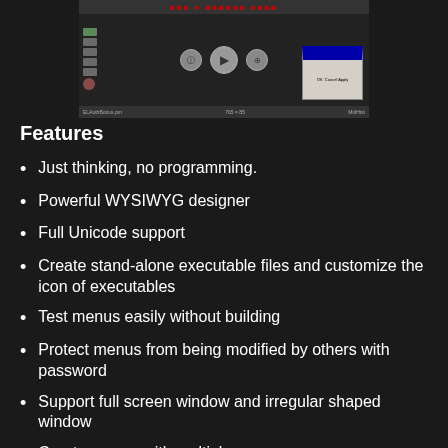[Figure (screenshot): Screenshot of a software application showing a media player-like interface with play controls, sidebar icons, a mini dialog window, and a red title text banner at the top.]
Features
Just thinking, no programming.
Powerful WYSIWYG designer
Full Unicode support
Create stand-alone executable files and customize the icon of executables
Test menus easily without building
Protect menus from being modified by others with password
Support full screen window and irregular shaped window
Create menus with multiple pages
Show splash screen and end screen